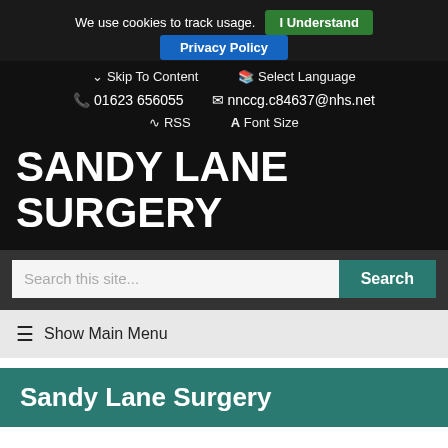We use cookies to track usage. I Understand
Privacy Policy
Skip To Content | Select Language
01623 656055   nnccg.c84637@nhs.net
RSS   Font Size
SANDY LANE SURGERY
Search this site...
Show Main Menu
Sandy Lane Surgery